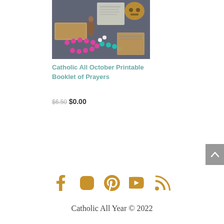[Figure (photo): Photo of Catholic religious items including rosary beads in pink and teal, figurines, and a prayer card on a wooden surface]
Catholic All October Printable Booklet of Prayers
$6.50 $0.00
[Figure (infographic): Social media icons: Facebook, Instagram, Pinterest, YouTube, RSS feed - in golden/amber color]
Catholic All Year © 2022